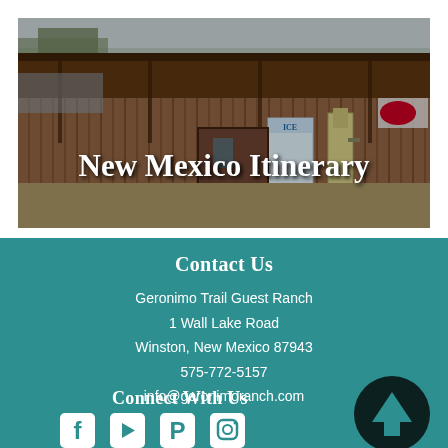[Figure (photo): Photograph of a rustic wooden building/storefront, likely a ranch or general store in New Mexico. The building has wooden siding and an awning/overhang. Text overlay reads 'New Mexico Itinerary' in large white bold serif font.]
New Mexico Itinerary
Contact Us
Geronimo Trail Guest Ranch
1 Wall Lake Road
Winston, New Mexico 87943
575-772-5157
info@geronimoranch.com
Connect With Us
[Figure (illustration): Social media icons for Facebook, YouTube, Pinterest, and Instagram displayed in white on teal background. An upward arrow in a dark circle is positioned at the bottom right.]